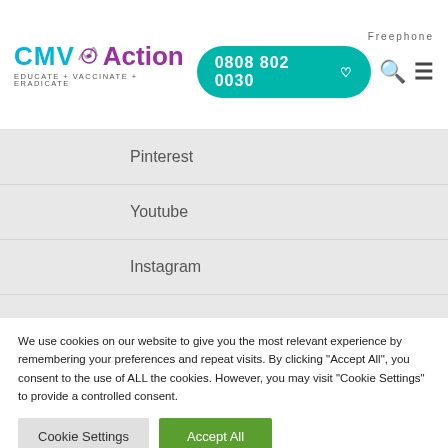[Figure (logo): CMV Action logo with teal CMV text, wave lines, heart icon, purple Action text, and tagline EDUCATE + VACCINATE + ERADICATE]
Freephone
0808 802 0030
Pinterest
Youtube
Instagram
Terms & Conditions
We use cookies on our website to give you the most relevant experience by remembering your preferences and repeat visits. By clicking "Accept All", you consent to the use of ALL the cookies. However, you may visit "Cookie Settings" to provide a controlled consent.
Cookie Settings
Accept All